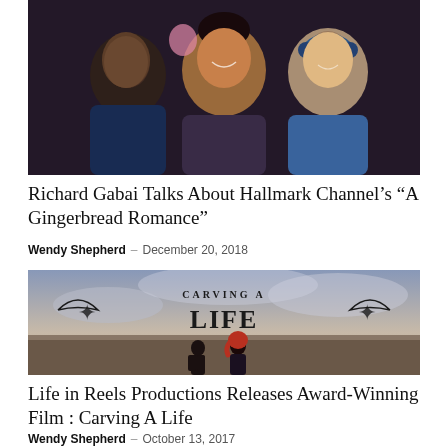[Figure (photo): Three smiling people — a Black man on the left, a woman of South Asian descent in the center, and a white man with headphones on the right — appearing to be on a film set.]
Richard Gabai Talks About Hallmark Channel’s “A Gingerbread Romance”
Wendy Shepherd – December 20, 2018
[Figure (photo): Promotional poster for 'Carving A Life' — large decorative serif text reading 'CARVING A LIFE' with scroll ornaments, over a scenic sunset sky with two silhouetted figures (a man and a woman with red hair) seen from behind.]
Life in Reels Productions Releases Award-Winning Film : Carving A Life
Wendy Shepherd – October 13, 2017